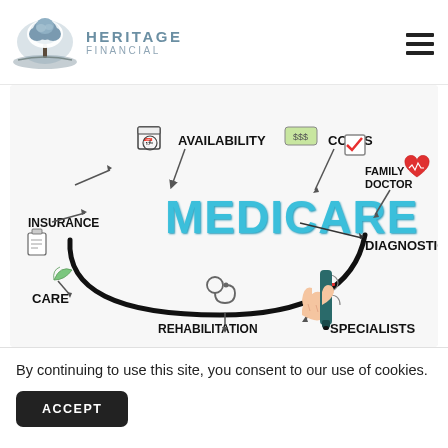[Figure (logo): Heritage Financial logo with tree silhouette in a blue circular emblem and text 'HERITAGE FINANCIAL']
[Figure (infographic): Medicare infographic showing the word MEDICARE in large teal letters surrounded by related concepts: Availability, Costs, Family Doctor, Diagnostics, Specialists, Rehabilitation, Care, Insurance, with icons and arrows. A hand holding a marker draws the surrounding arc.]
By continuing to use this site, you consent to our use of cookies.
ACCEPT